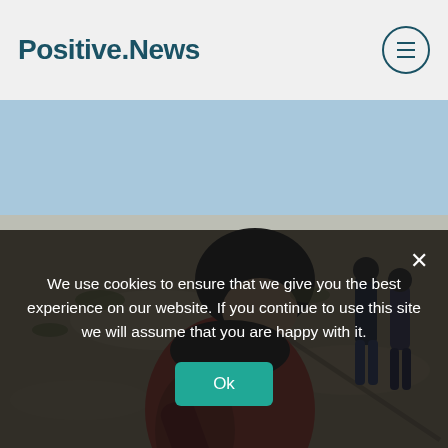Positive.News
[Figure (photo): Person in red jacket and black beanie bending down on rocky desert terrain, with two other people standing in the background under a clear blue sky.]
We use cookies to ensure that we give you the best experience on our website. If you continue to use this site we will assume that you are happy with it.